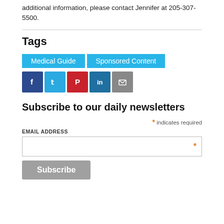additional information, please contact Jennifer at 205-307-5500.
Tags
[Figure (other): Tag buttons: Medical Guide, Sponsored Content; Social share icons: Facebook, Twitter, Pinterest, LinkedIn, Email]
Subscribe to our daily newsletters
* indicates required
EMAIL ADDRESS
Subscribe